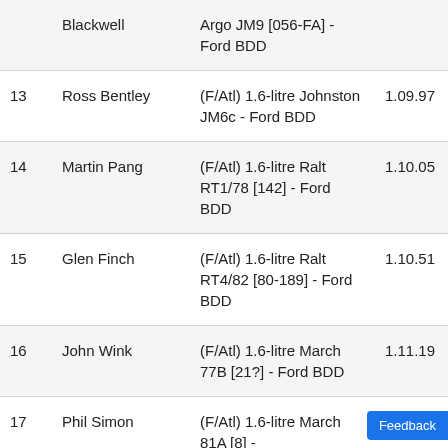|  |  |  |  |
| --- | --- | --- | --- |
|  | Blackwell | Argo JM9 [056-FA] - Ford BDD |  |
| 13 | Ross Bentley | (F/Atl) 1.6-litre Johnston JM6c - Ford BDD | 1.09.97 |
| 14 | Martin Pang | (F/Atl) 1.6-litre Ralt RT1/78 [142] - Ford BDD | 1.10.05 |
| 15 | Glen Finch | (F/Atl) 1.6-litre Ralt RT4/82 [80-189] - Ford BDD | 1.10.51 |
| 16 | John Wink | (F/Atl) 1.6-litre March 77B [21?] - Ford BDD | 1.11.19 |
| 17 | Phil Simon | (F/Atl) 1.6-litre March 81A [8] - | 1.11.26 |